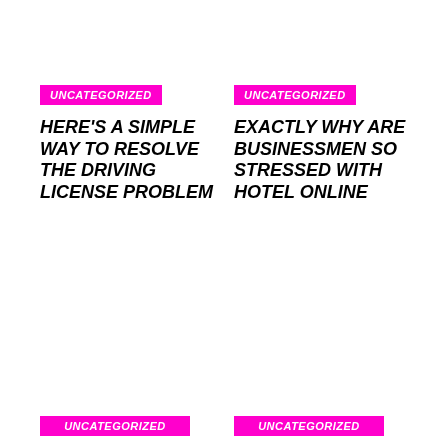UNCATEGORIZED
HERE'S A SIMPLE WAY TO RESOLVE THE DRIVING LICENSE PROBLEM
UNCATEGORIZED
EXACTLY WHY ARE BUSINESSMEN SO STRESSED WITH HOTEL ONLINE
UNCATEGORIZED
UNCATEGORIZED